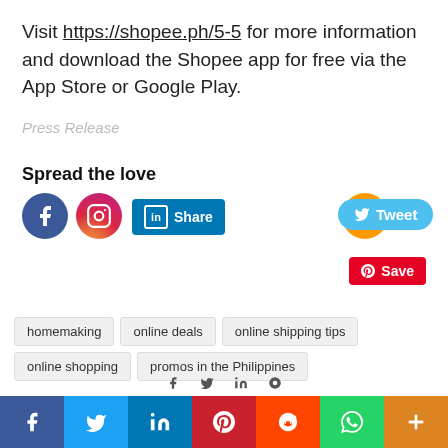Visit https://shopee.ph/5-5 for more information and download the Shopee app for free via the App Store or Google Play.
Press Release
Spread the love
[Figure (infographic): Social media share buttons: Facebook, Instagram, LinkedIn Share, plus button, Tweet button, Pinterest Save button]
homemaking
online deals
online shipping tips
online shopping
promos in the Philippines
[Figure (infographic): Bottom social sharing bar with Facebook, Twitter, LinkedIn, Pinterest, Reddit, WhatsApp, and plus buttons]